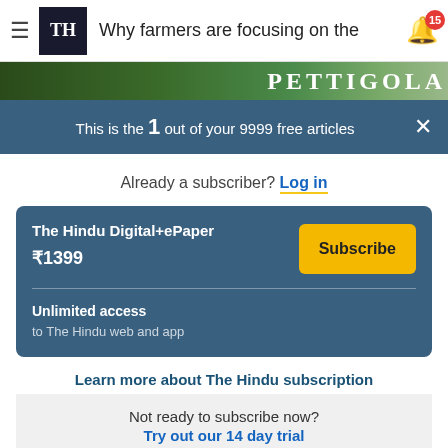Why farmers are focusing on the
This is the 1 out of your 9999 free articles
Already a subscriber? Log in
The Hindu Digital+ePaper ₹1399 Subscribe Unlimited access to The Hindu web and app
Learn more about The Hindu subscription
Not ready to subscribe now? Try out our 14 day trial